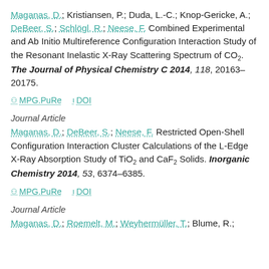Maganas, D.; Kristiansen, P.; Duda, L.-C.; Knop-Gericke, A.; DeBeer, S.; Schlögl, R.; Neese, F. Combined Experimental and Ab Initio Multireference Configuration Interaction Study of the Resonant Inelastic X-Ray Scattering Spectrum of CO2. The Journal of Physical Chemistry C 2014, 118, 20163–20175.
MPG.PuRe | DOI
Journal Article
Maganas, D.; DeBeer, S.; Neese, F. Restricted Open-Shell Configuration Interaction Cluster Calculations of the L-Edge X-Ray Absorption Study of TiO2 and CaF2 Solids. Inorganic Chemistry 2014, 53, 6374–6385.
MPG.PuRe | DOI
Journal Article
Maganas, D.; Roemelt, M.; Weyhermüller, T.; Blume, R.;